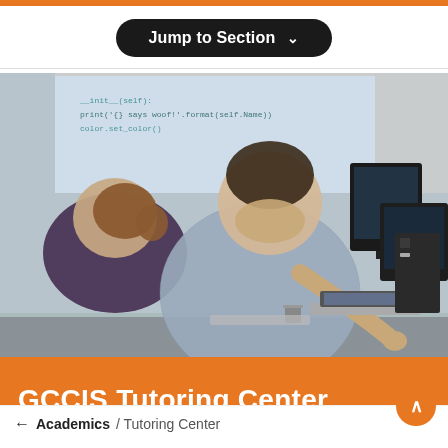Jump to Section ∨
[Figure (photo): A male instructor leaning over to point at a laptop screen, assisting a female student in a computer lab. Multiple monitors and computers visible in the background. A projected screen showing code is visible at the top.]
GCCIS Tutoring Center
← Academics / Tutoring Center